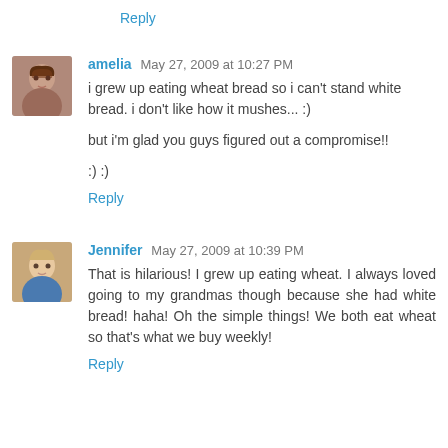Reply
amelia May 27, 2009 at 10:27 PM
i grew up eating wheat bread so i can't stand white bread. i don't like how it mushes... :)

but i'm glad you guys figured out a compromise!!

:) :)

Reply
Jennifer May 27, 2009 at 10:39 PM
That is hilarious! I grew up eating wheat. I always loved going to my grandmas though because she had white bread! haha! Oh the simple things! We both eat wheat so that's what we buy weekly!

Reply